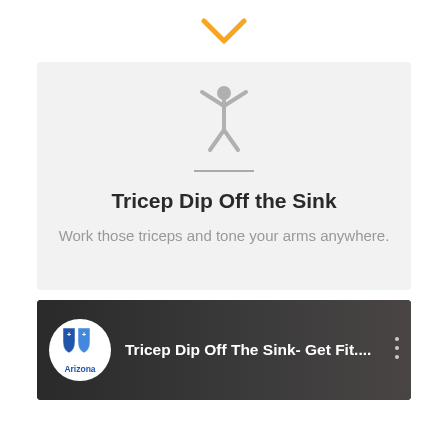[Figure (illustration): Orange downward chevron / arrow icon centered at top of page]
[Figure (illustration): Gray stick figure person with arms raised, above a horizontal gray divider line]
Tricep Dip Off the Sink
Work those triceps and tone your arms anywhere.
[Figure (screenshot): Video thumbnail card showing Blue Cross Blue Shield of Arizona logo circle, title 'Tricep Dip Off The Sink- Get Fit....' with a three-dot menu icon, dark video background with partial view of people]